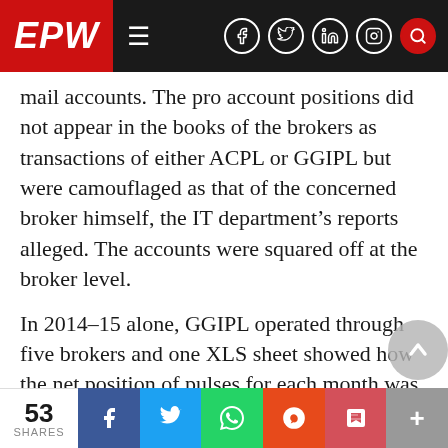EPW
mail accounts. The pro account positions did not appear in the books of the brokers as transactions of either ACPL or GGIPL but were camouflaged as that of the concerned broker himself, the IT department’s reports alleged. The accounts were squared off at the broker level.
In 2014–15 alone, GGIPL operated through five brokers and one XLS sheet showed how the net position of pulses for each month was squared off to zero. The total realised but undisclosed profit was ₹2.13 crore. Similarly, a profit of ₹1.55 crore was shifted out the previous year. Mails from
53 SHARES